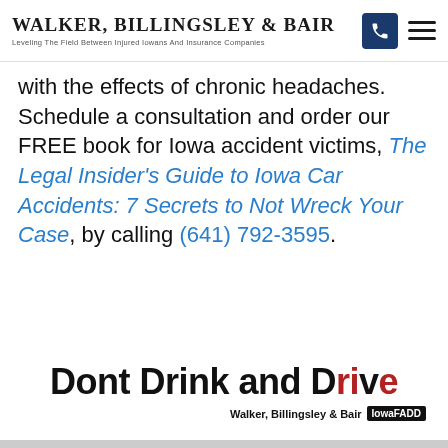Walker, Billingsley & Bair — Leveling The Field Between Injured Iowans And Insurance Companies
with the effects of chronic headaches. Schedule a consultation and order our FREE book for Iowa accident victims, The Legal Insider's Guide to Iowa Car Accidents: 7 Secrets to Not Wreck Your Case, by calling (641) 792-3595.
[Figure (infographic): Dont Drink and Drive infographic with Walker, Billingsley & Bair and IowaFADD branding. The word 'Drive' has the letters 'iv' partially obscured/redacted in red.]